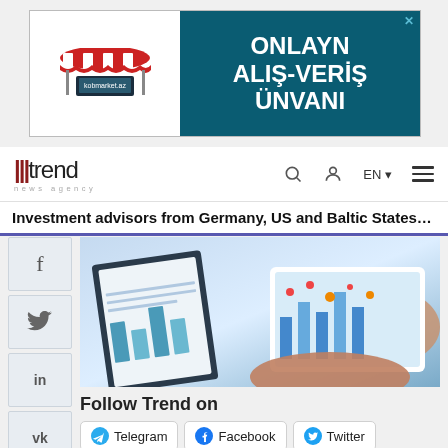[Figure (illustration): Advertisement banner for kobmarket.az showing an online shopping marketplace with awning icon and text ONLAYN ALIŞ-VERİŞ ÜNVANI on teal background]
trend news agency — EN
Investment advisors from Germany, US and Baltic States to v...
[Figure (photo): Two business people reviewing documents and charts on a tablet and clipboard]
Follow Trend on
Telegram
Facebook
Twitter
Google Новости